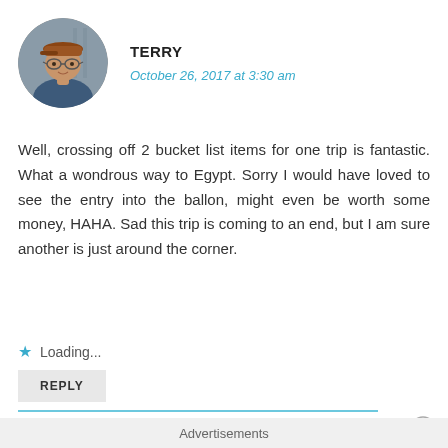[Figure (photo): Circular avatar photo of a middle-aged man wearing a reddish-brown cap and glasses, outdoors]
TERRY
October 26, 2017 at 3:30 am
Well, crossing off 2 bucket list items for one trip is fantastic. What a wondrous way to Egypt. Sorry I would have loved to see the entry into the ballon, might even be worth some money, HAHA. Sad this trip is coming to an end, but I am sure another is just around the corner.
Loading...
REPLY
Advertisements